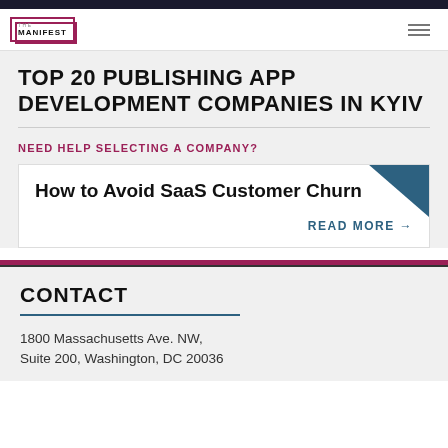THE MANIFEST
TOP 20 PUBLISHING APP DEVELOPMENT COMPANIES IN KYIV
NEED HELP SELECTING A COMPANY?
[Figure (other): Promotional ad card: How to Avoid SaaS Customer Churn — READ MORE →]
CONTACT
1800 Massachusetts Ave. NW, Suite 200, Washington, DC 20036